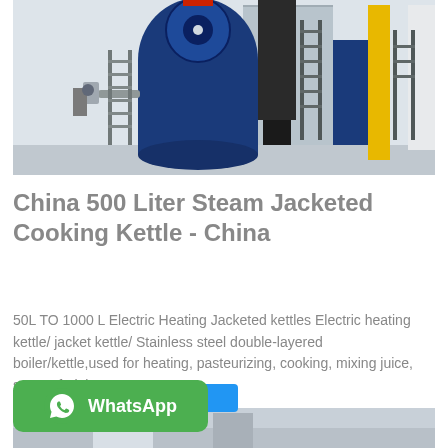[Figure (photo): Industrial steam boiler/kettle equipment in a factory setting. Large blue cylindrical boiler with pipes, metal staircases, and yellow support columns visible in a large industrial space.]
China 500 Liter Steam Jacketed Cooking Kettle - China
50L TO 1000 L Electric Heating Jacketed kettles Electric heating kettle/ jacket kettle/ Stainless steel double-layered boiler/kettle,used for heating, pasteurizing, cooking, mixing juice, sauce, fruit jam an...
[Figure (screenshot): WhatsApp contact button (green rounded rectangle with WhatsApp logo and text 'WhatsApp') and a blue button partially visible behind it.]
[Figure (photo): Partial view of another industrial equipment photo at the bottom of the page.]